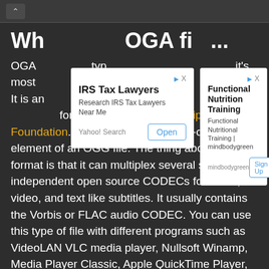[Figure (screenshot): Browser UI chrome with up chevron navigation button on dark background]
Wh... OGA file...
OGA ... type ... and it's most... an... It is an... ed b... format developed by the Xiph.Org Foundation. OGA files are the audio-only element of an OGG file. The thing about this file format is that it can multiplex several separate independent open source CODECs for audio, video, and text like subtitles. It usually contains the Vorbis or FLAC audio CODEC. You can use this type of file with different programs such as VideoLAN VLC media player, Nullsoft Winamp, Media Player Classic, Apple QuickTime Player, MPlayer, etc.
[Figure (screenshot): Ad overlay 1: IRS Tax Lawyers - Research IRS Tax Lawyers Near Me. Yahoo! Search. Open button.]
[Figure (screenshot): Ad overlay 2: Functional Nutrition Training - Functional Nutritional Training | mindbodygreen. Sign Up button.]